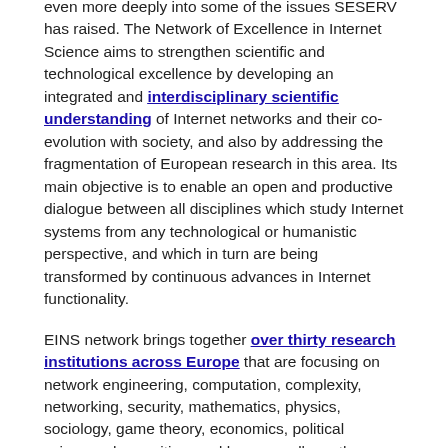even more deeply into some of the issues SESERV has raised. The Network of Excellence in Internet Science aims to strengthen scientific and technological excellence by developing an integrated and interdisciplinary scientific understanding of Internet networks and their co-evolution with society, and also by addressing the fragmentation of European research in this area. Its main objective is to enable an open and productive dialogue between all disciplines which study Internet systems from any technological or humanistic perspective, and which in turn are being transformed by continuous advances in Internet functionality.
EINS network brings together over thirty research institutions across Europe that are focusing on network engineering, computation, complexity, networking, security, mathematics, physics, sociology, game theory, economics, political sciences, humanities, and law, as well as other relevant social and life sciences. The network's main deliverable will be a durable shaping and structuring of the way that this research is carried out, by gathering together a critical mass of resources, gathering the expertise needed to provide European leadership in this area, and by spreading excellence beyond the network...